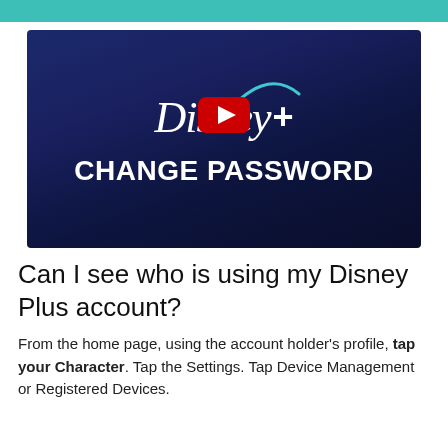[Figure (screenshot): Disney+ Change Password video thumbnail with YouTube play button overlay. Dark blue gradient background with Disney+ logo and large white bold text 'CHANGE PASSWORD'. A red YouTube play button is overlaid on the logo area.]
Can I see who is using my Disney Plus account?
From the home page, using the account holder's profile, tap your Character. Tap the Settings. Tap Device Management or Registered Devices.